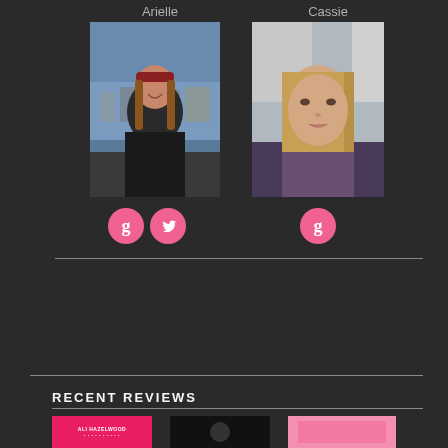Arielle
[Figure (photo): Photo of Arielle, a woman wearing a red knit headband, smiling, with a waterfront town in the background]
[Figure (photo): Photo of Cassie, a young woman with long blonde hair, seated in a car]
Cassie
[Figure (logo): Two pink circle icons: a Goodreads 'g' icon and a Twitter bird icon, for Arielle]
[Figure (logo): One pink circle icon: a Goodreads 'g' icon, for Cassie]
RECENT REVIEWS
[Figure (photo): Book cover thumbnail 1: Ali Hazelwood, pink/red cover]
[Figure (photo): Book cover thumbnail 2: dark cover]
[Figure (photo): Book cover thumbnail 3: pink cover]